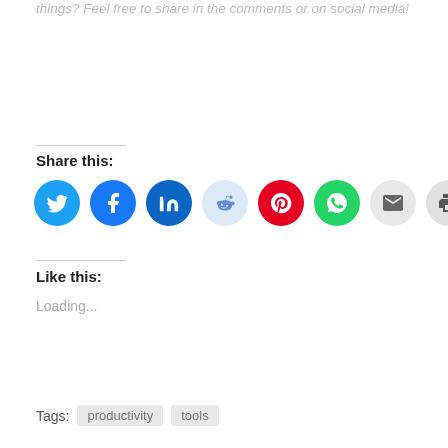things? Feel free to share in the comments or on social media!
Share this:
[Figure (infographic): Row of 8 social sharing icon circles: Twitter (blue), Facebook (blue), LinkedIn (dark blue), Reddit (light blue), Pinterest (red), WhatsApp (green), Email (light gray), Print (light gray)]
Like this:
Loading...
Tags: productivity tools